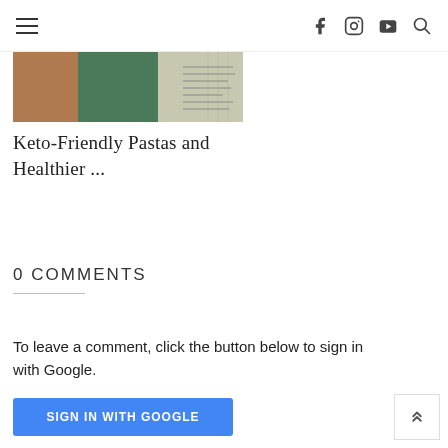Navigation header with hamburger menu, Facebook, Instagram, YouTube, and Search icons
[Figure (photo): Partial food/pasta image showing keto-friendly pasta product with text on packaging]
Keto-Friendly Pastas and Healthier ...
0 COMMENTS
To leave a comment, click the button below to sign in with Google.
SIGN IN WITH GOOGLE